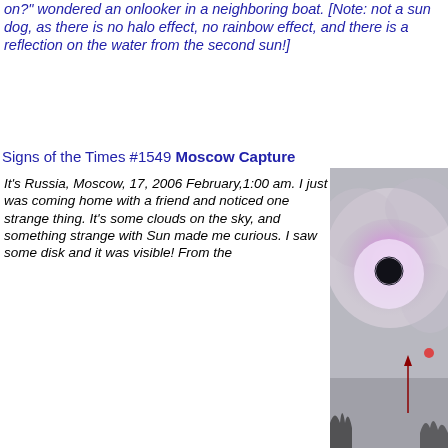on?" wondered an onlooker in a neighboring boat. [Note: not a sun dog, as there is no halo effect, no rainbow effect, and there is a reflection on the water from the second sun!]
Signs of the Times #1549 Moscow Capture
It's Russia, Moscow, 17, 2006 February,1:00 am. I just was coming home with a friend and noticed one strange thing. It's some clouds on the sky, and something strange with Sun made me curious. I saw some disk and it was visible! From the
[Figure (photo): Photograph of sky with a large dark circular object surrounded by a purple/pink glow in overcast sky. A dark red arrow points up toward a small pink/red dot to the lower right of the main object.]